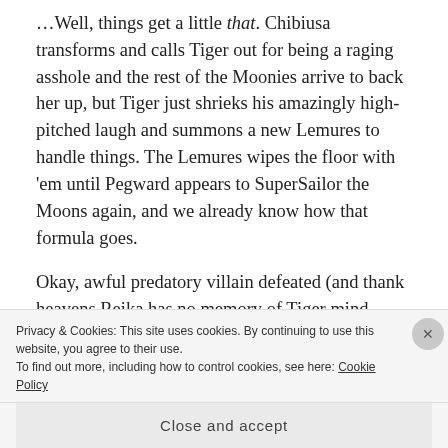…Well, things get a little that. Chibiusa transforms and calls Tiger out for being a raging asshole and the rest of the Moonies arrive to back her up, but Tiger just shrieks his amazingly high-pitched laugh and summons a new Lemures to handle things. The Lemures wipes the floor with 'em until Pegward appears to SuperSailor the Moons again, and we already know how that formula goes.
Okay, awful predatory villain defeated (and thank heavens Reika has no memory of Tiger mind-molesting her)—time to get back to the relationship
Privacy & Cookies: This site uses cookies. By continuing to use this website, you agree to their use.
To find out more, including how to control cookies, see here: Cookie Policy
Close and accept